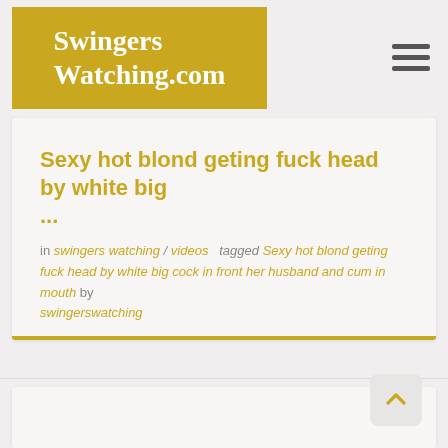SwingersWatching.com
Sexy hot blond geting fuck head by white big ...
in swingers watching / videos  tagged  Sexy hot blond geting fuck head by white big cock in front her husband and cum in mouth  by swingerswatching